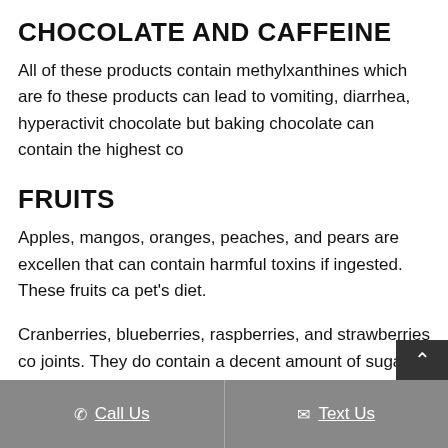CHOCOLATE AND CAFFEINE
All of these products contain methylxanthines which are fo these products can lead to vomiting, diarrhea, hyperactivit chocolate but baking chocolate can contain the highest co
FRUITS
Apples, mangos, oranges, peaches, and pears are excellen that can contain harmful toxins if ingested. These fruits ca pet's diet.
Cranberries, blueberries, raspberries, and strawberries co joints. They do contain a decent amount of sugar so
Call Us   Text Us